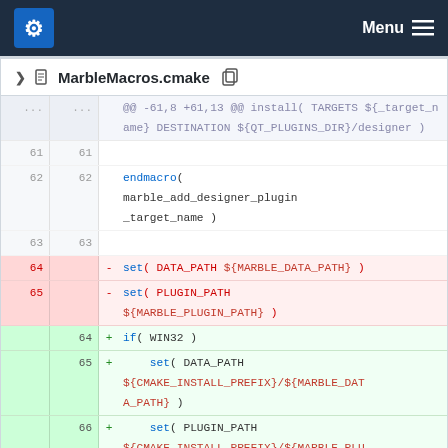KDE Menu
MarbleMacros.cmake
@@ -61,8 +61,13 @@ install( TARGETS ${_target_name} DESTINATION ${QT_PLUGINS_DIR}/designer )
61  61  
62  62  endmacro( marble_add_designer_plugin _target_name )
63  63  
- 64     - set( DATA_PATH ${MARBLE_DATA_PATH} )
- 65     - set( PLUGIN_PATH ${MARBLE_PLUGIN_PATH} )
  64  + if( WIN32 )
  65  + set( DATA_PATH ${CMAKE_INSTALL_PREFIX}/${MARBLE_DATA_PATH} )
  66  + set( PLUGIN_PATH ${CMAKE_INSTALL_PREFIX}/${MARBLE_PLUGIN_PATH} )